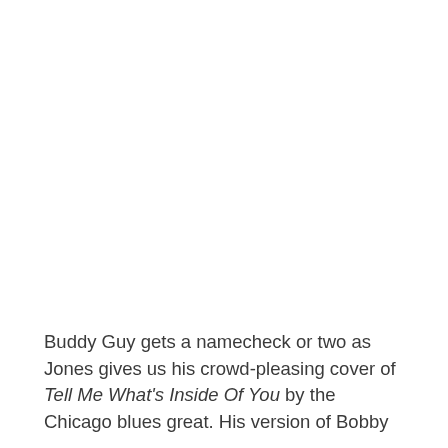Buddy Guy gets a namecheck or two as Jones gives us his crowd-pleasing cover of Tell Me What's Inside Of You by the Chicago blues great. His version of Bobby